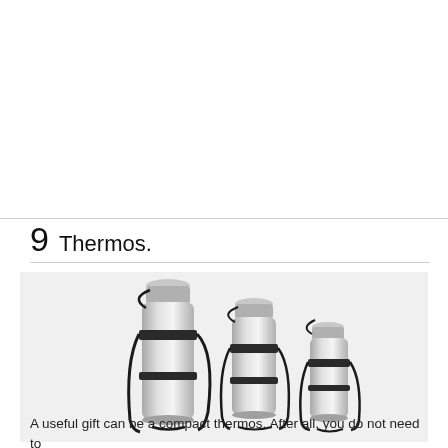9  Thermos.
[Figure (photo): Three stainless steel thermos bottles of decreasing sizes arranged side by side, each with black carrying straps/harnesses attached.]
A useful gift can be a compact thermos. After all, you do not need to